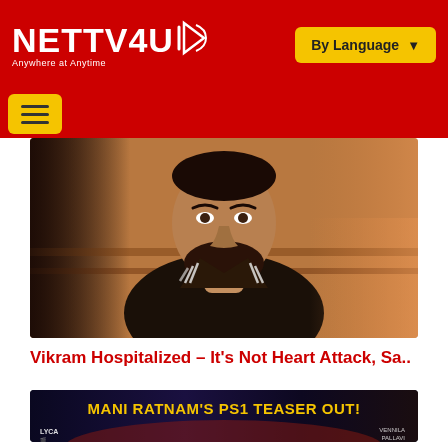NETTV4U — Anywhere at Anytime | By Language
[Figure (photo): Headshot of actor Vikram with beard, wearing dark jacket, serious expression, reddish-brown blurred background]
Vikram Hospitalized – It's Not Heart Attack, Sa..
[Figure (photo): Promotional banner for Mani Ratnam's PS1 Teaser Out!, dark background with golden text, Lyca Productions logo on left, credits on right]